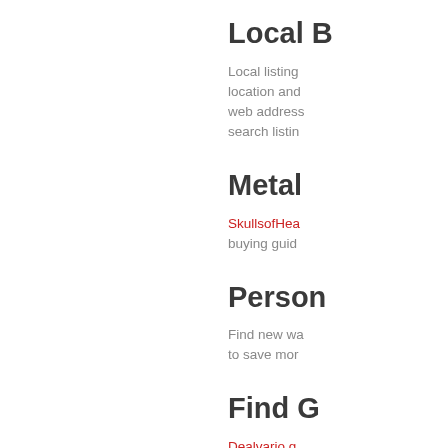Local B
Local listing location and web address search listin
Metal
SkullsofHea buying guid
Person
Find new wa to save mor
Find G
Dealvario g